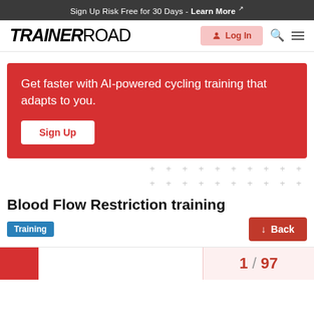Sign Up Risk Free for 30 Days - Learn More ↗
[Figure (logo): TrainerRoad logo with Log In button, search icon, and menu icon]
Get faster with AI-powered cycling training that adapts to you.
Sign Up
Blood Flow Restriction training
Training
↓ Back
1 / 97